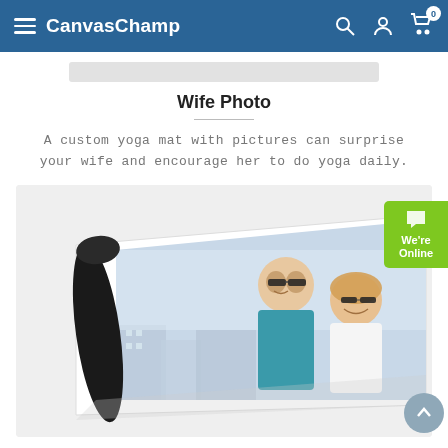CanvasChamp
Wife Photo
A custom yoga mat with pictures can surprise your wife and encourage her to do yoga daily.
[Figure (photo): A custom yoga mat rolled at one end showing a couple smiling, with the man in a teal shirt and the woman in a white top, both wearing sunglasses, with a city backdrop. Chat button labeled We're Online and a scroll-to-top arrow button are visible on the right side.]